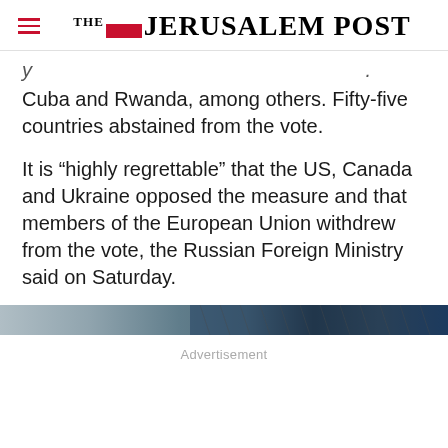THE JERUSALEM POST
Cuba and Rwanda, among others. Fifty-five countries abstained from the vote.
It is “highly regrettable” that the US, Canada and Ukraine opposed the measure and that members of the European Union withdrew from the vote, the Russian Foreign Ministry said on Saturday.
[Figure (photo): Partial image strip at the bottom of the article, appearing to show a textured or patterned surface in blue and grey tones.]
Advertisement